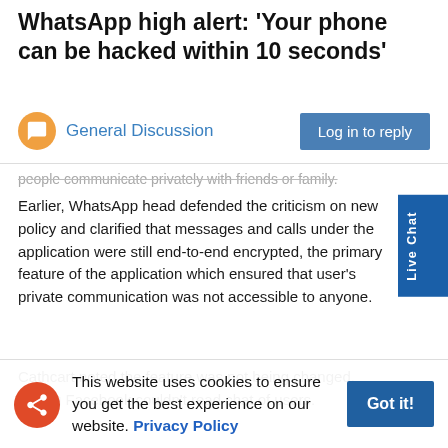WhatsApp high alert: 'Your phone can be hacked within 10 seconds'
General Discussion
people communicate privately with friends or family.
Earlier, WhatsApp head defended the criticism on new policy and clarified that messages and calls under the application were still end-to-end encrypted, the primary feature of the application which ensured that user's private communication was not accessible to anyone.
Cathcart noted the feature was not being changed, saying Facebook couldn't read chat of users.
“It’s important to clear this update describes business communication and does not change WhatsApp’s data sharing practices with Facebook. It does not impact how people communicate privately with friends or family wherever they are in the world,” said the WhatsApp head in a series of Tweets defending the criticism on the application.
This website uses cookies to ensure you get the best experience on our website. Privacy Policy